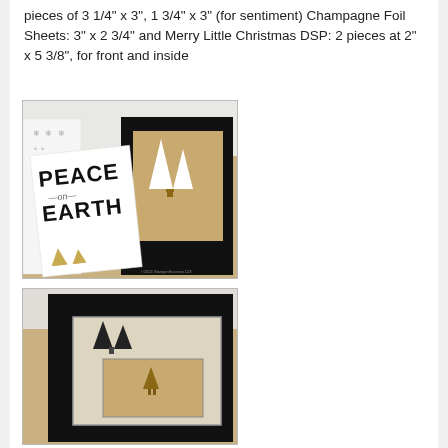pieces of 3 1/4" x 3", 1 3/4" x 3" (for sentiment) Champagne Foil Sheets: 3" x 2 3/4" and Merry Little Christmas DSP: 2 pieces at 2" x 5 3/8", for front and inside
[Figure (photo): Christmas card craft project showing a tri-fold card display. Front card reads 'PEACE on EARTH' in bold black text with gold foil trees at bottom. Behind it is a black-paneled card with a tan/gold interior showing white tree silhouettes and a deer. To the left is a white panel with snowflake patterns. Cards are displayed on a wood surface.]
[Figure (photo): Second photo of the Christmas card project showing the inside/back view. A black-framed card is open displaying a light tan interior with dark tree silhouettes and a small deer figure visible through a window/panel. Background is a wood surface.]